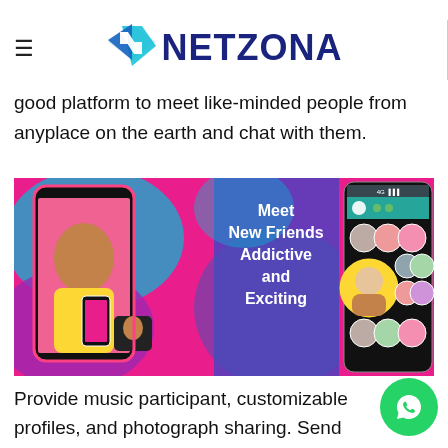NETZONA
good platform to meet like-minded people from anyplace on the earth and chat with them.
[Figure (screenshot): App promotional image showing three mobile app screenshots: left shows a video call interface with a woman, center shows text 'Meet New Friends Addictive and Exciting' on colorful background, right shows a social grid of user profile photos.]
Provide music participant, customizable profiles, and photograph sharing. Send emojis, share video files, sy...